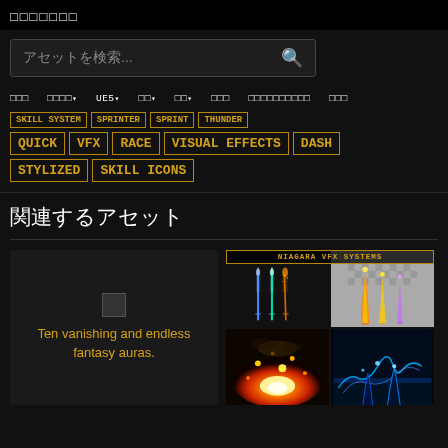□□□□□□□
アセットを検索...
新着　カテゴリ▾　UE5▾　価格▾　評価▾　セール　マーケットプレイスとは　ヘルプ
SKILL SYSTEM
SPRINTER
SPRINT
THUNDER
QUICK
VFX
RACE
VISUAL EFFECTS
DASH
STYLIZED
SKILL ICONS
関連するアセット
[Figure (screenshot): Asset card showing icon and text: Ten vanishing and endless fantasy auras.]
[Figure (screenshot): NIAGARA VFX SYSTEMS asset grid showing magical weapon effects, fire explosion, and electric effects in 2x2 grid layout.]